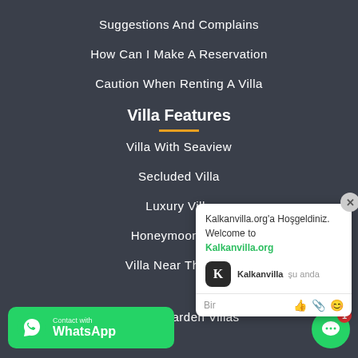Suggestions And Complains
How Can I Make A Reservation
Caution When Renting A Villa
Villa Features
Villa With Seaview
Secluded Villa
Luxury Villa
Honeymoon Villa
Villa Near The Sea
Private Garden Villas
[Figure (screenshot): Chat popup widget from Kalkanvilla.org with welcome message in Turkish and English, avatar with K logo, and input field]
[Figure (logo): Contact with WhatsApp green button with phone icon]
[Figure (other): Green circular chat bubble button with red badge showing 1]